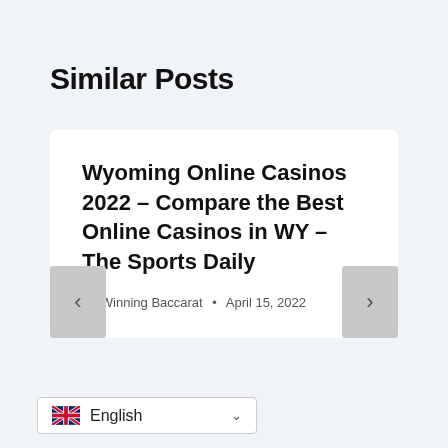Similar Posts
Wyoming Online Casinos 2022 – Compare the Best Online Casinos in WY – The Sports Daily
By Winning Baccarat • April 15, 2022
English